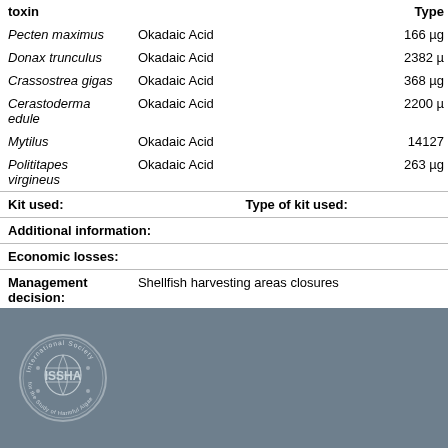| toxin |  | Type |
| --- | --- | --- |
| Pecten maximus | Okadaic Acid | 166 µg |
| Donax trunculus | Okadaic Acid | 2382 µ |
| Crassostrea gigas | Okadaic Acid | 368 µg |
| Cerastoderma edule | Okadaic Acid | 2200 µ |
| Mytilus | Okadaic Acid | 14127 |
| Polititapes virgineus | Okadaic Acid | 263 µg |
| Kit used: |  | Type of kit used: |
| Additional information: |  |  |
| Economic losses: |  |  |
| Management decision: |  | Shellfish harvesting areas closures |
| Additional harmful effect information: |  |  |
[Figure (logo): ISSHA International Society for the Study of Harmful Algae circular logo in white on grey background]